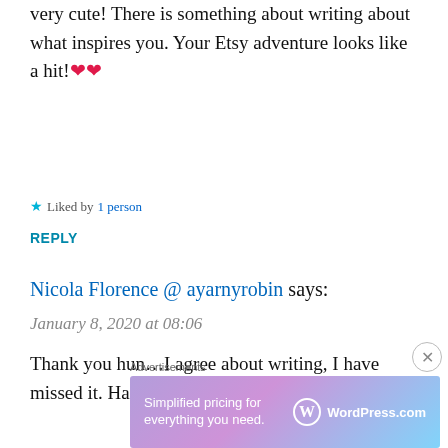very cute! There is something about writing about what inspires you. Your Etsy adventure looks like a hit!❤️❤️
★ Liked by 1 person
REPLY
Nicola Florence @ ayarnyrobin says:
January 8, 2020 at 08:06
Thank you hun…I agree about writing, I have missed it. Happy new year xx
[Figure (screenshot): WordPress.com advertisement banner reading 'Simplified pricing for everything you need.' with WordPress.com logo]